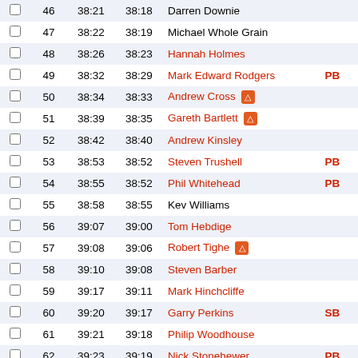|  | Pos | Gun | Chip | Name | Badge | Cat | Gen |
| --- | --- | --- | --- | --- | --- | --- | --- |
|  | 46 | 38:21 | 38:18 | Darren Downie |  | V35 | M |
|  | 47 | 38:22 | 38:19 | Michael Whole Grain |  | SEN | M |
|  | 48 | 38:26 | 38:23 | Hannah Holmes |  | SEN | W |
|  | 49 | 38:32 | 38:29 | Mark Edward Rodgers | PB | V40 | M |
|  | 50 | 38:34 | 38:33 | Andrew Cross 🔥 |  | U23 | M |
|  | 51 | 38:39 | 38:35 | Gareth Bartlett 🔥 |  | V35 | M |
|  | 52 | 38:42 | 38:40 | Andrew Kinsley |  | SEN | M |
|  | 53 | 38:53 | 38:52 | Steven Trushell | PB | V35 | M |
|  | 54 | 38:55 | 38:52 | Phil Whitehead | PB | SEN | M |
|  | 55 | 38:58 | 38:55 | Kev Williams |  | V35 | M |
|  | 56 | 39:07 | 39:00 | Tom Hebdige |  | V35 | M |
|  | 57 | 39:08 | 39:06 | Robert Tighe 🔥 |  | V35 | M |
|  | 58 | 39:10 | 39:08 | Steven Barber |  | V35 | M |
|  | 59 | 39:17 | 39:11 | Mark Hinchcliffe |  | V45 | M |
|  | 60 | 39:20 | 39:17 | Garry Perkins | SB | V60 | M |
|  | 61 | 39:21 | 39:18 | Philip Woodhouse |  | V50 | M |
|  | 62 | 39:23 | 39:19 | Nick Stonehewer | PB | V45 | M |
|  | 63 | 39:25 | 39:20 | Tomasz Krzeszewski | SB | V40 | M |
|  | 64 | 39:29 | 39:24 | Dave Longstaff |  | V35 | M |
|  | 65 | 39:34 | 39:31 | Luke Hollinshead |  | SEN | M |